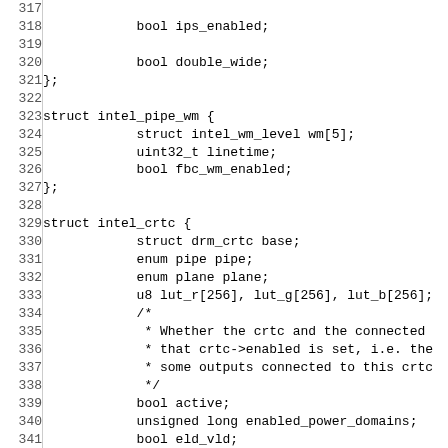[Figure (screenshot): Source code listing of C struct definitions for intel_pipe_wm and intel_crtc, with line numbers 317-346, shown in monospace font on white background.]